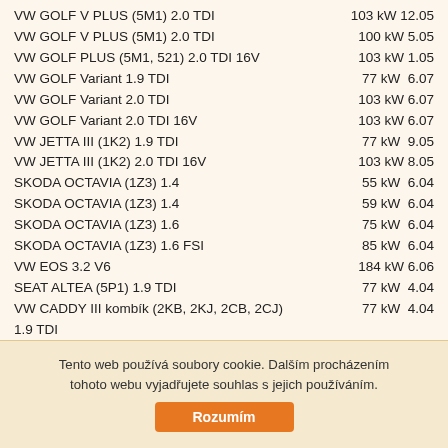VW GOLF V PLUS (5M1) 2.0 TDI | 103 kW 12.05
VW GOLF V PLUS (5M1) 2.0 TDI | 100 kW 5.05
VW GOLF PLUS (5M1, 521) 2.0 TDI 16V | 103 kW 1.05
VW GOLF Variant 1.9 TDI | 77 kW  6.07
VW GOLF Variant 2.0 TDI | 103 kW 6.07
VW GOLF Variant 2.0 TDI 16V | 103 kW 6.07
VW JETTA III (1K2) 1.9 TDI | 77 kW  9.05
VW JETTA III (1K2) 2.0 TDI 16V | 103 kW 8.05
SKODA OCTAVIA (1Z3) 1.4 | 55 kW  6.04
SKODA OCTAVIA (1Z3) 1.4 | 59 kW  6.04
SKODA OCTAVIA (1Z3) 1.6 | 75 kW  6.04
SKODA OCTAVIA (1Z3) 1.6 FSI | 85 kW  6.04
VW EOS 3.2 V6 | 184 kW 6.06
SEAT ALTEA (5P1) 1.9 TDI | 77 kW  4.04
VW CADDY III kombík (2KB, 2KJ, 2CB, 2CJ) 1.9 TDI | 77 kW  4.04
VW CADDY III kombík (2KB, 2KJ, 2CB, 2CJ) 1.9 TDI | 55 kW  9.05
VW CADDY III kombík (2KB, 2KJ, 2CB, 2CJ)
Tento web používá soubory cookie. Dalším procházením tohoto webu vyjadřujete souhlas s jejich používáním.
Rozumím